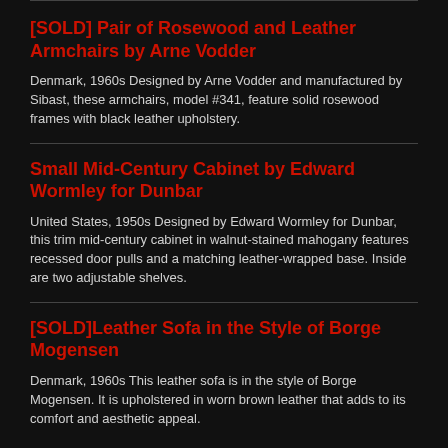[SOLD] Pair of Rosewood and Leather Armchairs by Arne Vodder
Denmark, 1960s Designed by Arne Vodder and manufactured by Sibast, these armchairs, model #341, feature solid rosewood frames with black leather upholstery.
Small Mid-Century Cabinet by Edward Wormley for Dunbar
United States, 1950s Designed by Edward Wormley for Dunbar, this trim mid-century cabinet in walnut-stained mahogany features recessed door pulls and a matching leather-wrapped base. Inside are two adjustable shelves.
[SOLD]Leather Sofa in the Style of Borge Mogensen
Denmark, 1960s This leather sofa is in the style of Borge Mogensen. It is upholstered in worn brown leather that adds to its comfort and aesthetic appeal.